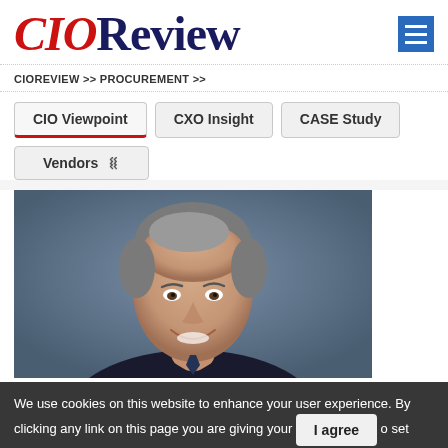CIOReview
CIOREVIEW >> PROCUREMENT >>
CIO Viewpoint
CXO Insight
CASE Study
Vendors
[Figure (photo): Portrait photo of a smiling middle-aged man with gray hair, wearing a dark suit, against a blue-gray background]
We use cookies on this website to enhance your user experience. By clicking any link on this page you are giving your consent to set cookies. More info